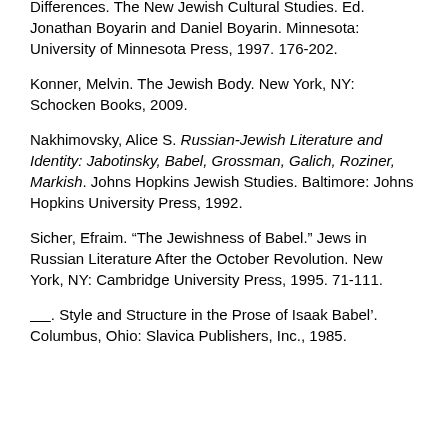Differences. The New Jewish Cultural Studies. Ed. Jonathan Boyarin and Daniel Boyarin. Minnesota: University of Minnesota Press, 1997. 176-202.
Konner, Melvin. The Jewish Body. New York, NY: Schocken Books, 2009.
Nakhimovsky, Alice S. Russian-Jewish Literature and Identity: Jabotinsky, Babel, Grossman, Galich, Roziner, Markish. Johns Hopkins Jewish Studies. Baltimore: Johns Hopkins University Press, 1992.
Sicher, Efraim. “The Jewishness of Babel.” Jews in Russian Literature After the October Revolution. New York, NY: Cambridge University Press, 1995. 71-111.
_____. Style and Structure in the Prose of Isaak Babel’. Columbus, Ohio: Slavica Publishers, Inc., 1985.